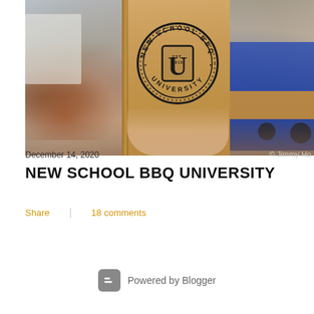[Figure (photo): A hand holding a cardboard booklet stamped with 'New School BBQ University' circular seal logo, with a blurred outdoor BBQ event scene in background including people seated and a blue food truck. Photo credit: © Jimmy Ho]
December 14, 2020
© Jimmy Ho
NEW SCHOOL BBQ UNIVERSITY
Share    18 comments
Powered by Blogger